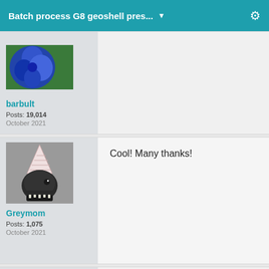Batch process G8 geoshell pres... ▼
[Figure (photo): Blue flower avatar photo for user barbult (cropped, partial view at top)]
barbult
Posts: 19,014
October 2021
[Figure (photo): Dinosaur with party hat avatar for user Greymom]
Greymom
Posts: 1,075
October 2021
Cool!  Many thanks!
[Figure (photo): Partial avatar image at bottom of page, dark blue tones]